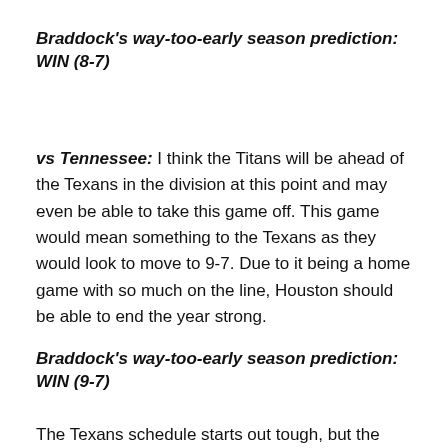Braddock's way-too-early season prediction: WIN (8-7)
vs Tennessee: I think the Titans will be ahead of the Texans in the division at this point and may even be able to take this game off. This game would mean something to the Texans as they would look to move to 9-7. Due to it being a home game with so much on the line, Houston should be able to end the year strong.
Braddock's way-too-early season prediction: WIN (9-7)
The Texans schedule starts out tough, but the